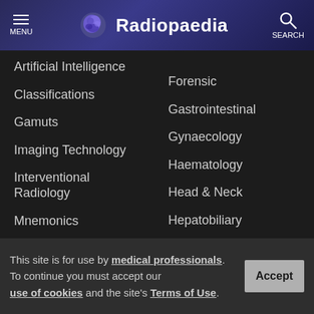Radiopaedia
Artificial Intelligence
Classifications
Gamuts
Imaging Technology
Interventional Radiology
Mnemonics
Pathology
Radiography
Signs
Forensic
Gastrointestinal
Gynaecology
Haematology
Head & Neck
Hepatobiliary
Interventional
Musculoskeletal
Obstetrics
This site is for use by medical professionals. To continue you must accept our use of cookies and the site's Terms of Use.